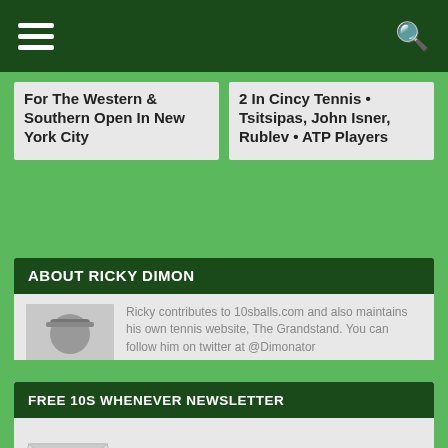For The Western & Southern Open In New York City
2 In Cincy Tennis • Tsitsipas, John Isner, Rublev • ATP Players
ABOUT RICKY DIMON
[Figure (photo): Headshot of Ricky Dimon wearing a cap]
Ricky contributes to 10sballs.com and also maintains his own tennis website, The Grandstand. You can follow him on twitter at @Dimonator
FREE 10S WHENEVER NEWSLETTER
[Figure (illustration): Envelope icon with @ symbol and green letter inside]
Subscribe And Keep Up With The Latest Tennis News And Gossip For Free!
Your Email (required)